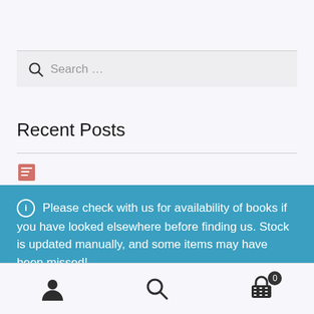[Figure (screenshot): Search bar with magnifying glass icon and 'Search ...' placeholder text on a light grey background]
Recent Posts
Please check with us for availability of books if you have looked elsewhere before finding us. Stock is updated manually, and some items may have been missed!
Dismiss
[Figure (screenshot): Bottom navigation bar with user icon, search icon, and shopping basket icon with badge showing 0]